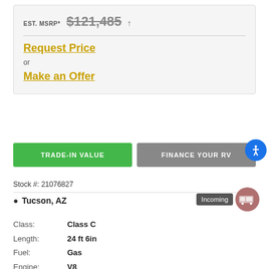EST. MSRP* $121,485 †
Request Price
or
Make an Offer
TRADE-IN VALUE
FINANCE YOUR RV
Stock #: 21076827
Tucson, AZ
Incoming
| Label | Value |
| --- | --- |
| Class: | Class C |
| Length: | 24 ft 6in |
| Fuel: | Gas |
| Engine: | V8 |
| Chassis: | Ford |